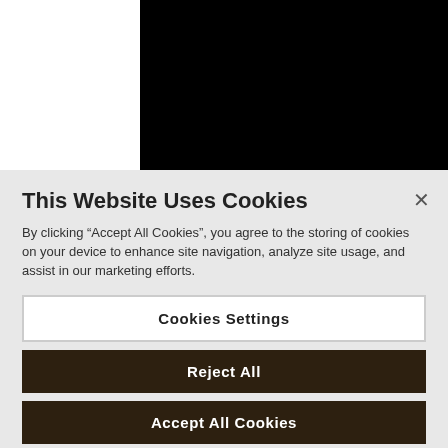[Figure (screenshot): Black rectangle representing a video or image placeholder area in the upper right portion of the page]
This Website Uses Cookies
By clicking “Accept All Cookies”, you agree to the storing of cookies on your device to enhance site navigation, analyze site usage, and assist in our marketing efforts.
Cookies Settings
Reject All
Accept All Cookies